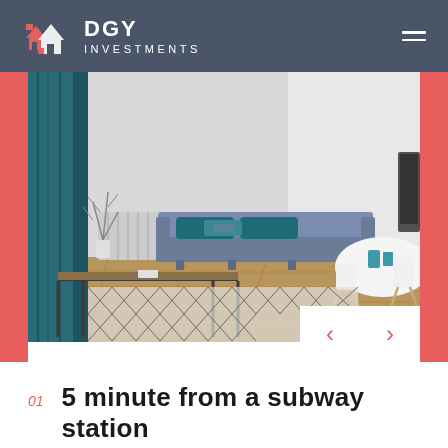DGY INVESTMENTS
[Figure (photo): Interior photo of a modern apartment living room with a gray sofa with blue pillows, wooden coffee table, geometric patterned rug, white dining table with chairs, and teal curtains. Red side bars flank the image. Navigation arrows (< >) appear in a white box at bottom right.]
01  5 minute from a subway station